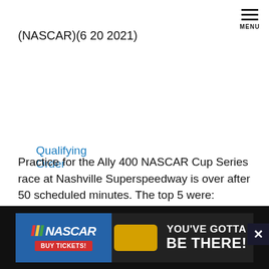MENU
(NASCAR)(6 20 2021)
Qualifying Order
Paint Schemes
Practice for the Ally 400 NASCAR Cup Series race at Nashville Superspeedway is over after 50 scheduled minutes. The top 5 were:
#24-Byron 161.082
#5-Larson 161.082
#9-Elliott 161.022
#47-Stenhouse, Jr. 159.600
#8-Reddick 159.568
[Figure (infographic): NASCAR advertisement banner: NASCAR logo with 'BUY TICKETS!' button and text 'YOU'VE GOTTA BE THERE!' with a race car image]